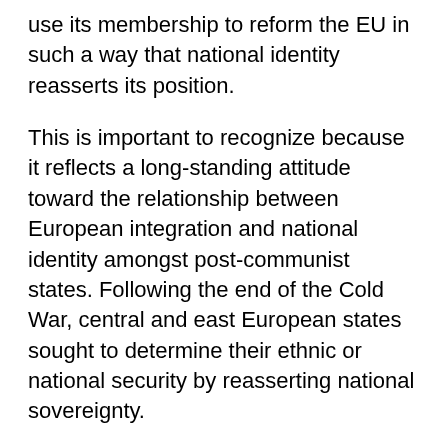use its membership to reform the EU in such a way that national identity reasserts its position.
This is important to recognize because it reflects a long-standing attitude toward the relationship between European integration and national identity amongst post-communist states. Following the end of the Cold War, central and east European states sought to determine their ethnic or national security by reasserting national sovereignty.
This took place with both a state context where most the ethnic nation was located within a defined territory, as was the case with the Baltic Countries of Estonia, Latvia and Lithuania; and in a national context, where the ethnic nation extended across numerous state boundaries, as exemplified by Hungary, and to a lesser extent, Romania. There was a genuine concern amongst western governments at